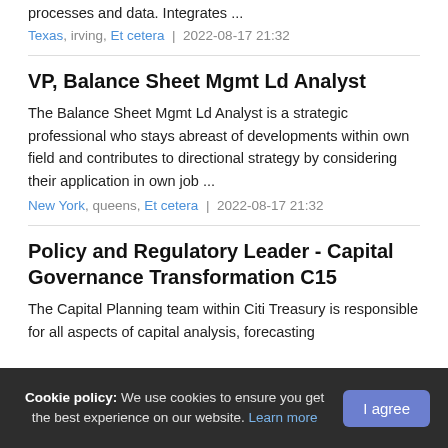specialty knowledge in monitoring and assessing processes and data. Integrates ...
Texas, irving, Et cetera  |  2022-08-17 21:32
VP, Balance Sheet Mgmt Ld Analyst
The Balance Sheet Mgmt Ld Analyst is a strategic professional who stays abreast of developments within own field and contributes to directional strategy by considering their application in own job ...
New York, queens, Et cetera  |  2022-08-17 21:32
Policy and Regulatory Leader - Capital Governance Transformation C15
The Capital Planning team within Citi Treasury is responsible for all aspects of capital analysis, forecasting
Cookie policy: We use cookies to ensure you get the best experience on our website. Learn more  I agree